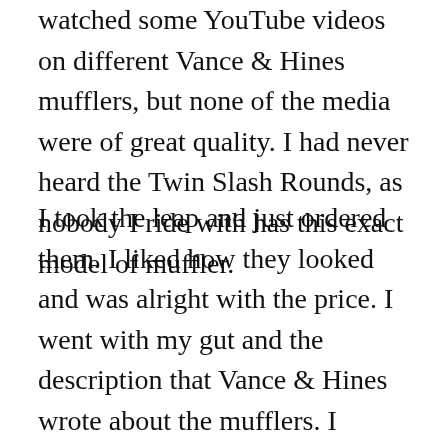watched some YouTube videos on different Vance & Hines mufflers, but none of the media were of great quality. I had never heard the Twin Slash Rounds, as nobody I ride with has this exact model of muffler.
I took the leap and just ordered them. I liked how they looked and was alright with the price. I went with my gut and the description that Vance & Hines wrote about the mufflers. I ordered these particular Twin Slash Round Slip-On mufflers through my local Harley Davidson dealership for $399 + tax. They go for $424.95 on the Vance & Hines website, so I got a bit of a break.